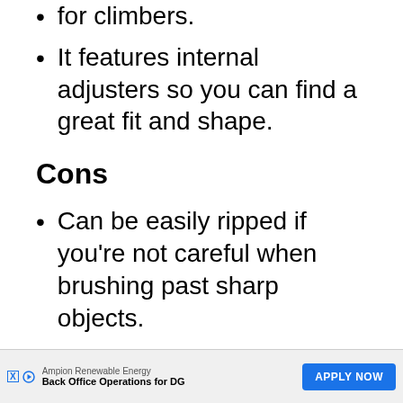for climbers.
It features internal adjusters so you can find a great fit and shape.
Cons
Can be easily ripped if you’re not careful when brushing past sharp objects.
Can get a bit clammy during high activities – you might need to layer up so you can remove...